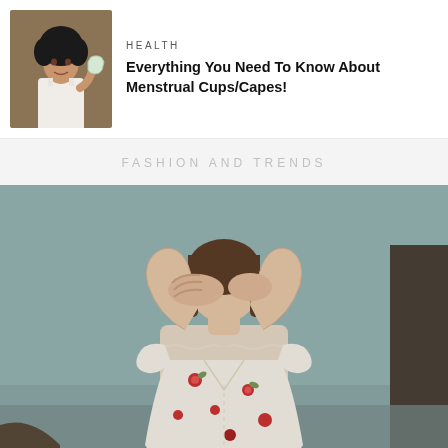[Figure (photo): Thumbnail photo of a woman holding a menstrual cup against an olive/tan background]
HEALTH
Everything You Need To Know About Menstrual Cups/Capes!
FASHION AND TRENDS
[Figure (photo): Large fashion photo of a young woman in a white floral dress with red flowers, hands covering her eyes, posed dramatically against a muted teal/grey background]